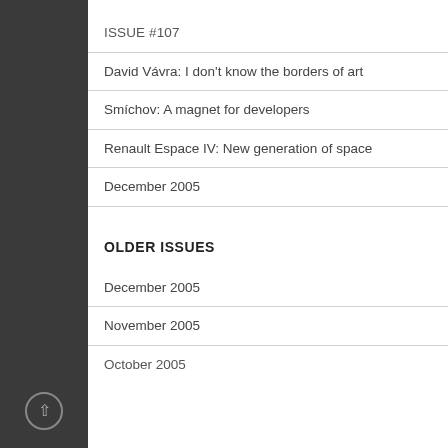ISSUE #107
David Vávra: I don't know the borders of art
Smíchov: A magnet for developers
Renault Espace IV: New generation of space
December 2005
OLDER ISSUES
December 2005
November 2005
October 2005